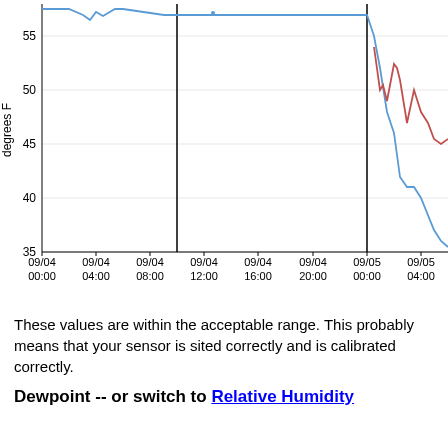[Figure (continuous-plot): Line chart showing temperature in degrees F over time from 09/04 00:00 to 09/05 ~06:00. Y-axis ranges from 35 to ~58, with gridlines at 35, 40, 45, 50, 55. Two lines: blue line starts around 57-58, dips and rises slightly around 09/04 04:00-08:00, stays flat ~57 until 09/04 10:00 vertical marker, remains flat ~57 until 09/05 00:00 vertical marker, then drops sharply to ~35. Red line appears after 09/05 00:00, starts ~54, fluctuates between 45-54, trending down. Two vertical black lines at ~09/04 10:00 and 09/05 00:00.]
These values are within the acceptable range. This probably means that your sensor is sited correctly and is calibrated correctly.
Dewpoint -- or switch to Relative Humidity